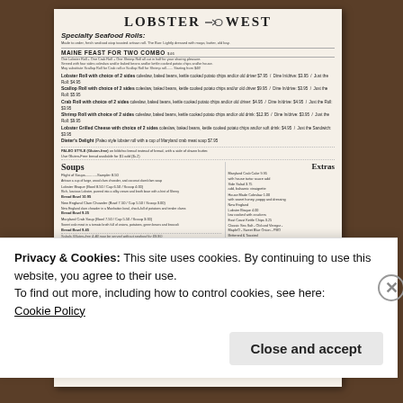LOBSTER WEST
Specialty Seafood Rolls:
Made to order, fresh seafood stop toasted artisan roll. The Bun: Lightly dressed with mayo, butter, old bay.
MAINE FEAST FOR TWO COMBO
One Lobster Roll + One Crab Roll + One Shrimp Roll all cut in half for your sharing pleasure. Served with four sides coleslaw and/or baked beans and/or kettle cooked potato chips and/or house. May substitute Scallop Roll for Crab roll or Scallop Roll for Shrimp roll....... Starting from $46!
Lobster Roll with choice of 2 sides coleslaw, baked beans, kettle cooked potato chips and/or old driver $7.95 / Dine In/drive: $3.95 / Just the Roll: $4.95
Scallop Roll with choice of 2 sides coleslaw, baked beans, kettle cooked potato chips and/or old driver $9.95 / Dine In/drive: $3.95 / Just the Roll: $5.95
Crab Roll with choice of 2 sides coleslaw, baked beans, kettle cooked potato chips and/or old driver: $4.95 / Dine In/drive: $4.95 / Just the Roll: $3.95
Shrimp Roll with choice of 2 sides coleslaw, baked beans, kettle cooked potato chips and/or old drink: $12.95 / Dine In/drive: $3.95 / Just the Roll: $9.95
Lobster Grilled Cheese with choice of 2 sides coleslaw, baked beans, kettle cooked potato chips and/or soft drink: $4.95 / Just the Sandwich: $3.95
Dieter's Delight (Paleo style lobster roll with a cup of Maryland crab meat soup $7.95
PALEO STYLE (Gluten-free) on bibb/no bread instead of bread, with a side of drawn butter. Use Gluten-Free bread available for $1 add ($+2)
Soups
Flight of Soups... Sampler 8.50
Artin a cup of large, wood clam chowder, and coconut clam/clam soup
Lobster Bisque (Bowl 8.50 / Cup 6.50 / Scoop 4.00)
Rich, luscious Lobster, pureed into a silky cream and broth base with a hint of Sherry
Bread Bowl 10.95
New England Clam Chowder (Bowl 7.50 / Cup 5.50 / Scoop 3.00)
New England Clam chowder in a Manhattan bowl, chock-full of potatoes and tender clams
Bread Bowl 9.25
Maryland Crab Soup (Bowl 7.50 / Cup 5.50 / Scoop 3.00)
Sweet crab meat in a tomato broth full of onions, potatoes, green beans and broccoli
Bread Bowl 9.45
Salads (Gluten-free & All may be served without seafood for $9.95)
Lobster Salad $7.95
Fresh Maine Lobster meat atop artisan mixed greens with fresh sweet Maine Lobster meat and organic cherry tomatoes. Served with our house specialty citrus dressing
Crab Cake Salad
Extras
Maryland Crab Cake $9.95
with house tartar sauce add
Side Salad 3.75
add, balsamic vinaigrette
House Made Coleslaw 1.00
with sweet honey, poppy and dressing
New England Lobster Bisque 4.00
low cooked with crackers
East Coast Kettle Chips 3.25
Classic Sea Salt - Old and Vinegar - MHO
MapleO - Sweet Blue Onion - PBO
Brittened & Toasted
Split Top Bun: 1.59
Lemon Tarragon Aioli 1.00
Drinks
Bottled Water
Desserts
Privacy & Cookies: This site uses cookies. By continuing to use this website, you agree to their use.
To find out more, including how to control cookies, see here: Cookie Policy
Close and accept